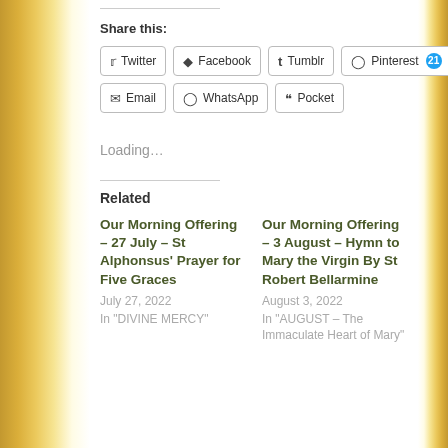Share this:
Twitter | Facebook | Tumblr | Pinterest 21
Email | WhatsApp | Pocket
Loading...
Related
Our Morning Offering – 27 July – St Alphonsus' Prayer for Five Graces
July 27, 2022
In "DIVINE MERCY"
Our Morning Offering – 3 August – Hymn to Mary the Virgin By St Robert Bellarmine
August 3, 2022
In "AUGUST – The Immaculate Heart of Mary"